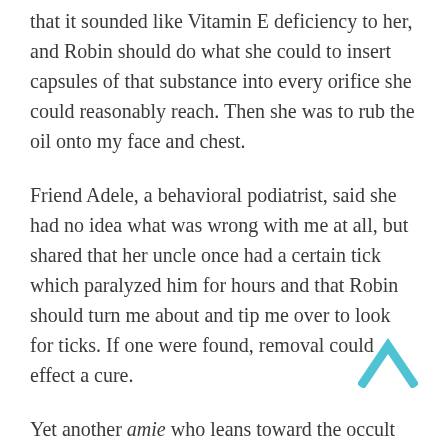that it sounded like Vitamin E deficiency to her, and Robin should do what she could to insert capsules of that substance into every orifice she could reasonably reach. Then she was to rub the oil onto my face and chest.
Friend Adele, a behavioral podiatrist, said she had no idea what was wrong with me at all, but shared that her uncle once had a certain tick which paralyzed him for hours and that Robin should turn me about and tip me over to look for ticks. If one were found, removal could effect a cure.
Yet another amie who leans toward the occult began to warble about demonic possession, but Robin hung up on her when she got going on animal sacrifice and the proper strewing of entrails.